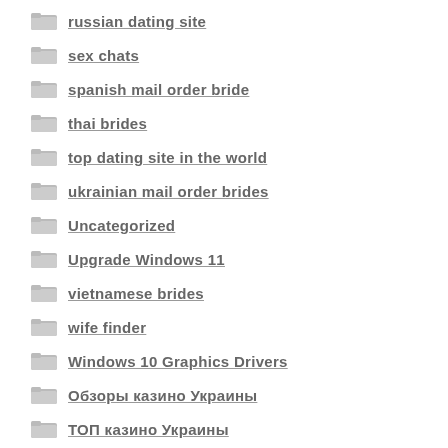russian dating site
sex chats
spanish mail order bride
thai brides
top dating site in the world
ukrainian mail order brides
Uncategorized
Upgrade Windows 11
vietnamese brides
wife finder
Windows 10 Graphics Drivers
Обзоры казино Украины
ТОП казино Украины
Финансы